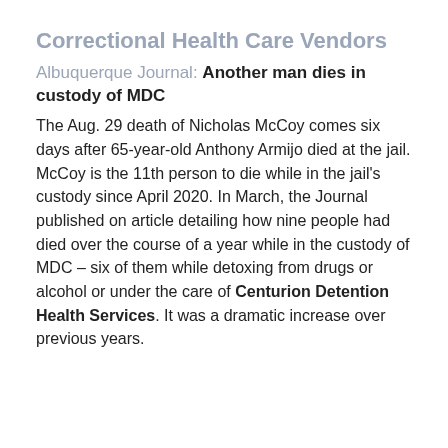Correctional Health Care Vendors
Albuquerque Journal: Another man dies in custody of MDC
The Aug. 29 death of Nicholas McCoy comes six days after 65-year-old Anthony Armijo died at the jail. McCoy is the 11th person to die while in the jail's custody since April 2020. In March, the Journal published on article detailing how nine people had died over the course of a year while in the custody of MDC – six of them while detoxing from drugs or alcohol or under the care of Centurion Detention Health Services. It was a dramatic increase over previous years.